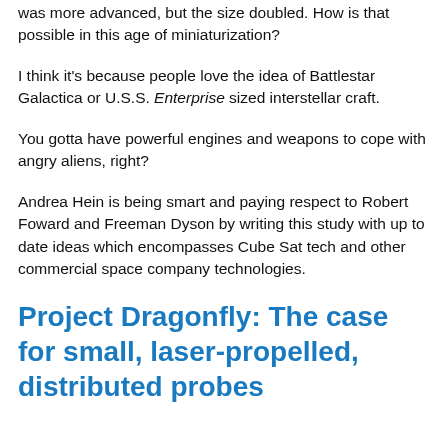was more advanced, but the size doubled. How is that possible in this age of miniaturization?
I think it's because people love the idea of Battlestar Galactica or U.S.S. Enterprise sized interstellar craft.
You gotta have powerful engines and weapons to cope with angry aliens, right?
Andrea Hein is being smart and paying respect to Robert Foward and Freeman Dyson by writing this study with up to date ideas which encompasses Cube Sat tech and other commercial space company technologies.
Project Dragonfly: The case for small, laser-propelled, distributed probes